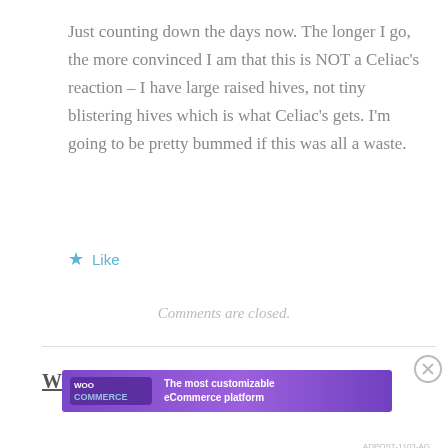Just counting down the days now. The longer I go, the more convinced I am that this is NOT a Celiac’s reaction – I have large raised hives, not tiny blistering hives which is what Celiac’s gets. I’m going to be pretty bummed if this was all a waste.
★ Like
Comments are closed.
Welcome!
Advertisements
[Figure (other): WooCommerce advertisement banner: purple gradient background with WooCommerce logo on left and text 'The most customizable eCommerce platform' on right. A close button (circled X) appears to the right of the banner.]